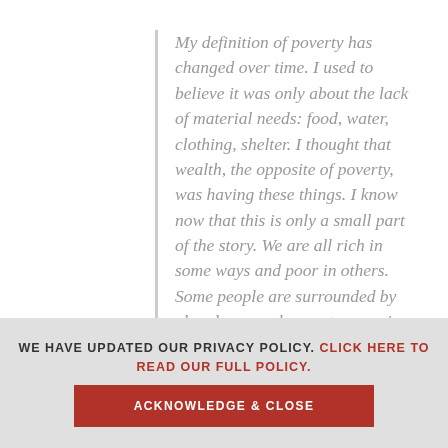My definition of poverty has changed over time. I used to believe it was only about the lack of material needs: food, water, clothing, shelter. I thought that wealth, the opposite of poverty, was having these things. I know now that this is only a small part of the story. We are all rich in some ways and poor in others. Some people are surrounded by abundance and cannot recognize it. They are capable of great things and free to do whatever they want with their days, but they remain fearful or
WE HAVE UPDATED OUR PRIVACY POLICY. CLICK HERE TO READ OUR FULL POLICY.
ACKNOWLEDGE & CLOSE